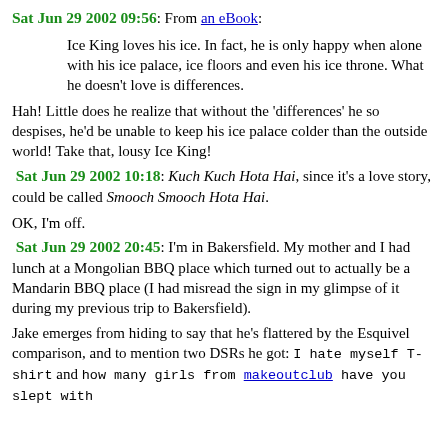Sat Jun 29 2002 09:56: From an eBook:
Ice King loves his ice. In fact, he is only happy when alone with his ice palace, ice floors and even his ice throne. What he doesn't love is differences.
Hah! Little does he realize that without the 'differences' he so despises, he'd be unable to keep his ice palace colder than the outside world! Take that, lousy Ice King!
Sat Jun 29 2002 10:18: Kuch Kuch Hota Hai, since it's a love story, could be called Smooch Smooch Hota Hai.
OK, I'm off.
Sat Jun 29 2002 20:45: I'm in Bakersfield. My mother and I had lunch at a Mongolian BBQ place which turned out to actually be a Mandarin BBQ place (I had misread the sign in my glimpse of it during my previous trip to Bakersfield).
Jake emerges from hiding to say that he's flattered by the Esquivel comparison, and to mention two DSRs he got: I hate myself T-shirt and how many girls from makeoutclub have you slept with